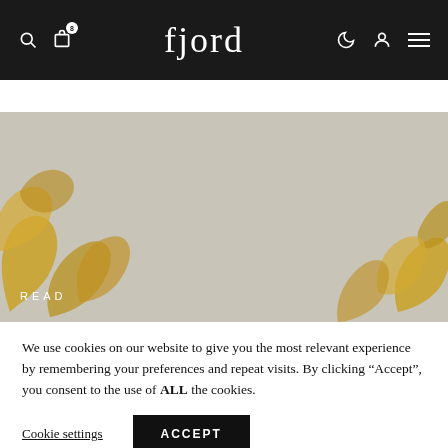fjord — navigation header with search, bag (8 items), dark mode, account, and menu icons
[Figure (screenshot): Hero image area with golden decorative lettering/script on a grey-beige background, with READ label at bottom left]
We use cookies on our website to give you the most relevant experience by remembering your preferences and repeat visits. By clicking “Accept”, you consent to the use of ALL the cookies.
Cookie settings   ACCEPT